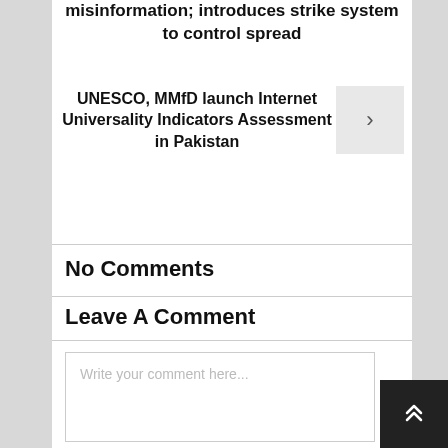misinformation; introduces strike system to control spread
UNESCO, MMfD launch Internet Universality Indicators Assessment in Pakistan
No Comments
Leave A Comment
Write your comment here...